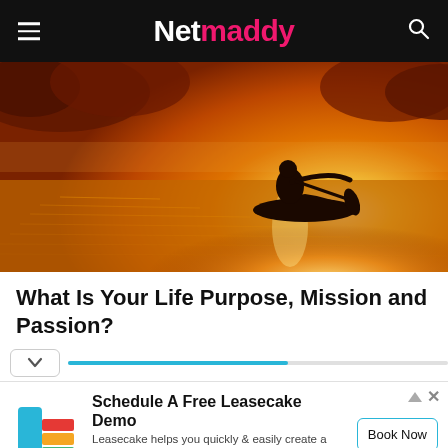Netmaddy
[Figure (photo): Silhouette of a person paddling a canoe on a misty golden lake at sunset, with orange and amber tones reflecting on the water and foggy trees in the background.]
What Is Your Life Purpose, Mission and Passion?
[Figure (other): Chevron down button and progress bar]
Schedule A Free Leasecake Demo
Leasecake helps you quickly & easily create a complete financial picture of your portfolio
Leasecake